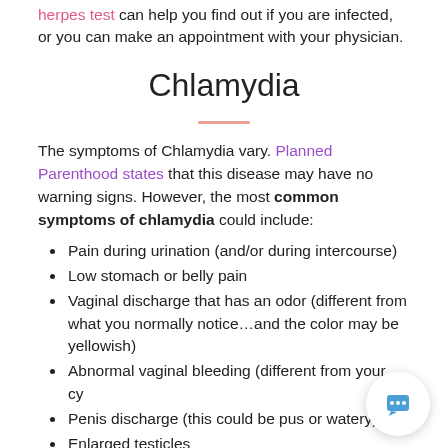herpes test can help you find out if you are infected, or you can make an appointment with your physician.
Chlamydia
The symptoms of Chlamydia vary. Planned Parenthood states that this disease may have no warning signs. However, the most common symptoms of chlamydia could include:
Pain during urination (and/or during intercourse)
Low stomach or belly pain
Vaginal discharge that has an odor (different from what you normally notice…and the color may be yellowish)
Abnormal vaginal bleeding (different from your cyc
Penis discharge (this could be pus or watery)
Enlarged testicles